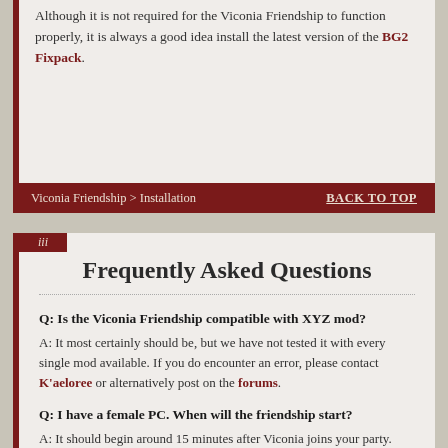Although it is not required for the Viconia Friendship to function properly, it is always a good idea install the latest version of the BG2 Fixpack.
Viconia Friendship > Installation   BACK TO TOP
iii
Frequently Asked Questions
Q: Is the Viconia Friendship compatible with XYZ mod?
A: It most certainly should be, but we have not tested it with every single mod available. If you do encounter an error, please contact K'aeloree or alternatively post on the forums.
Q: I have a female PC. When will the friendship start?
A: It should begin around 15 minutes after Viconia joins your party.
Q: I have a male PC. When will the friendship start?